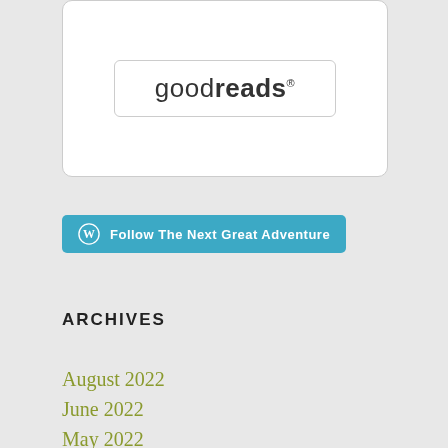[Figure (logo): Goodreads widget with rounded rectangle border containing the goodreads logo text]
[Figure (other): WordPress Follow button: teal/blue rounded button with WordPress logo and text 'Follow The Next Great Adventure']
ARCHIVES
August 2022
June 2022
May 2022